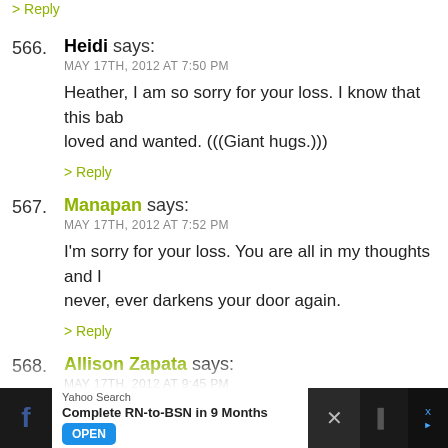> Reply
566. Heidi says:
MAY 17TH, 2012 AT 7:50 PM
Heather, I am so sorry for your loss. I know that this baby was so loved and wanted. (((Giant hugs.)))
> Reply
567. Manapan says:
MAY 17TH, 2012 AT 7:52 PM
I'm sorry for your loss. You are all in my thoughts and I hope grief never, ever darkens your door again.
> Reply
568. Allison Zapata says:
MAY 17TH, 2012 AT 9:45 PM
I just love you so much. xoxo
> Reply
[Figure (screenshot): Mobile advertisement bar at bottom: Yahoo Search ad for 'Complete RN-to-BSN in 9 Months' with OPEN button, flanked by social media icons and close button]